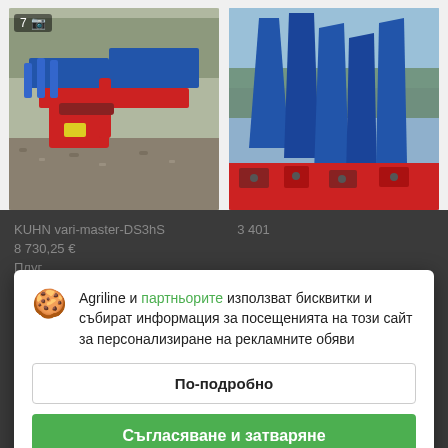[Figure (photo): Agricultural plow machine (red and blue) photographed outdoors on gravel, with badge showing '7' and camera icon]
[Figure (photo): Close-up of blue agricultural plow/cultivator tines and red frame outdoors]
Agriline и партньорите използват бисквитки и събират информация за посещенията на този сайт за персонализиране на рекламните обяви
По-подробно
Съгласяване и затваряне